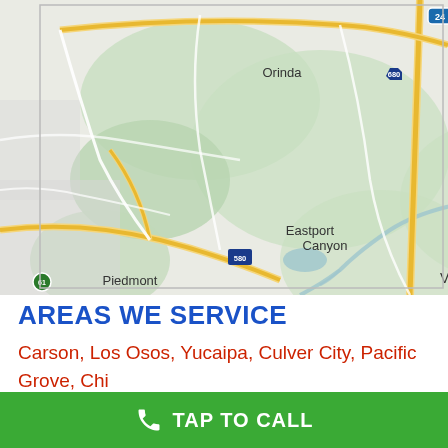[Figure (map): Google Maps view of East Bay area California showing Lafayette, Orinda, Rossmoor, Alamo, Danville, Moraga, Valle Vista, Eastport Canyon, Piedmont, with highway markers 24, 680, 13, 580]
AREAS WE SERVICE
Carson, Los Osos, Yucaipa, Culver City, Pacific Grove, Chino, Santa Paula, West Covina, Oakley, Benicia, Norco, Arroyo Grande, Wildomar, North Hills, El Sobrante, San Leandro, Greenfield, Newbury Park, Los Altos, Turlock, Unio
TAP TO CALL